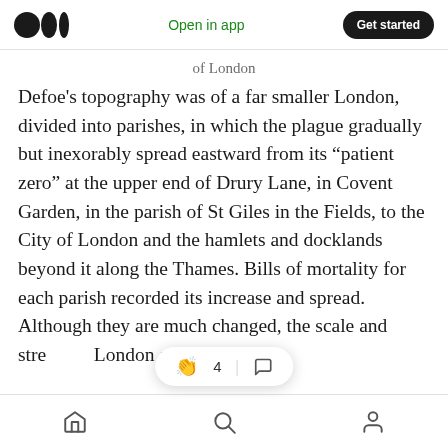Open in app | Get started
of London
Defoe’s topography was of a far smaller London, divided into parishes, in which the plague gradually but inexorably spread eastward from its “patient zero” at the upper end of Drury Lane, in Covent Garden, in the parish of St Giles in the Fields, to the City of London and the hamlets and docklands beyond it along the Thames. Bills of mortality for each parish recorded its increase and spread. Although they are much changed, the scale and stre… …London are still